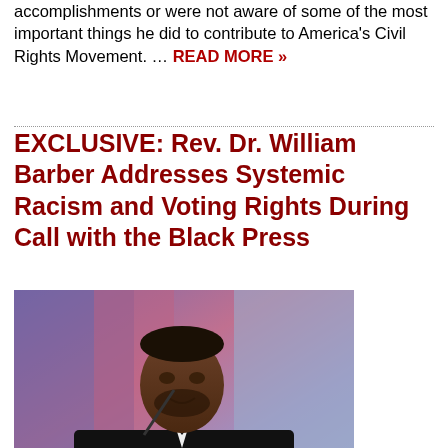accomplishments or were not aware of some of the most important things he did to contribute to America's Civil Rights Movement. … READ MORE »
EXCLUSIVE: Rev. Dr. William Barber Addresses Systemic Racism and Voting Rights During Call with the Black Press
[Figure (photo): Rev. Dr. William Barber speaking at a podium with a microphone, wearing a dark jacket, in front of a colorful pink/purple and blue backdrop]
January 23, 2020
Following the Shelby County v. Holder Supreme